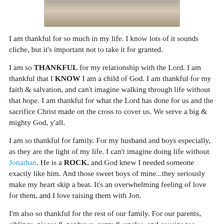[Figure (photo): Partial photo of people, cropped at top of page]
I am thankful for so much in my life. I know lots of it sounds cliche, but it's important not to take it for granted.
I am so THANKFUL for my relationship with the Lord. I am thankful that I KNOW I am a child of God. I am thankful for my faith & salvation, and can't imagine walking through life without that hope. I am thankful for what the Lord has done for us and the sacrifice Christ made on the cross to cover us. We serve a big & mighty God, y'all.
I am so thankful for family. For my husband and boys especially, as they are the light of my life. I can't imagine doing life without Jonathan. He is a ROCK, and God knew I needed someone exactly like him. And those sweet boys of mine...they seriously make my heart skip a beat. It's an overwhelming feeling of love for them, and I love raising them with Jon.
I'm also so thankful for the rest of our family. For our parents, siblings, nieces & nephews, aunts & uncles, and cousins too.